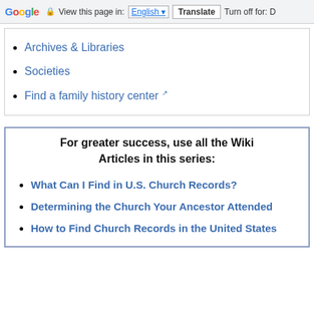Google  View this page in: English  Translate  Turn off for: D
Archives & Libraries
Societies
Find a family history center
For greater success, use all the Wiki Articles in this series:
What Can I Find in U.S. Church Records?
Determining the Church Your Ancestor Attended
How to Find Church Records in the United States